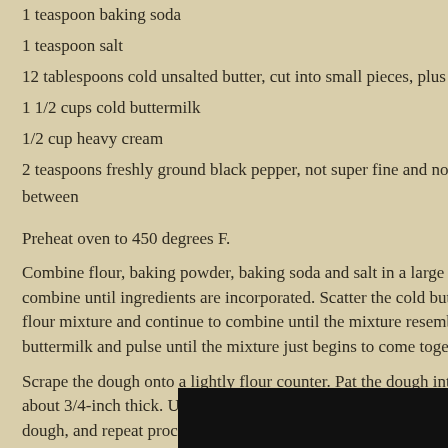1 teaspoon baking soda
1 teaspoon salt
12 tablespoons cold unsalted butter, cut into small pieces, plus 4 tab
1 1/2 cups cold buttermilk
1/2 cup heavy cream
2 teaspoons freshly ground black pepper, not super fine and not coa between
Preheat oven to 450 degrees F.
Combine flour, baking powder, baking soda and salt in a large bowl. combine until ingredients are incorporated. Scatter the cold butter pi flour mixture and continue to combine until the mixture resembles co buttermilk and pulse until the mixture just begins to come together.
Scrape the dough onto a lightly flour counter. Pat the dough into a 10 about 3/4-inch thick. Use a 3-inch round cutter to cut out biscuits. Pr dough, and repeat process. Place the biscuits on 2 baking sheets lin brush the tops with cream and sprinkle with black pepper. Bake the b minutes or until lightly golden brown. Remove from the oven and bru butter.
[Figure (photo): Bottom strip showing a dark baking/cooking image, partially visible at bottom right of page]